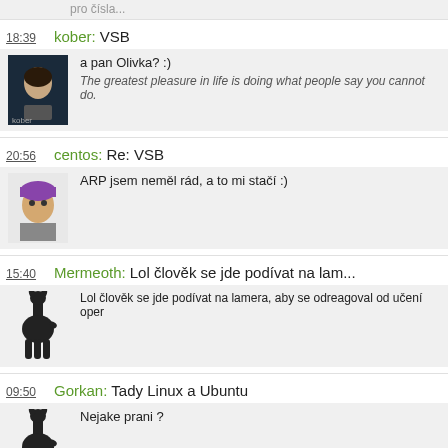pro čísla...
18:39   kober: VSB
[Figure (photo): Avatar photo of user kober - man in dark background, labeled 'kober']
a pan Olivka? :)
The greatest pleasure in life is doing what people say you cannot do.
20:56   centos: Re: VSB
[Figure (photo): Avatar photo of user centos - man with purple bandana]
ARP jsem neměl rád, a to mi stačí :)
15:40   Mermeoth: Lol člověk se jde podívat na lam...
[Figure (illustration): Silhouette of a llama (black)]
Lol člověk se jde podívat na lamera, aby se odreagoval od učení oper
09:50   Gorkan: Tady Linux a Ubuntu
[Figure (illustration): Silhouette of a llama (black)]
Nejake prani ?
10:38   kubile: Děkuji